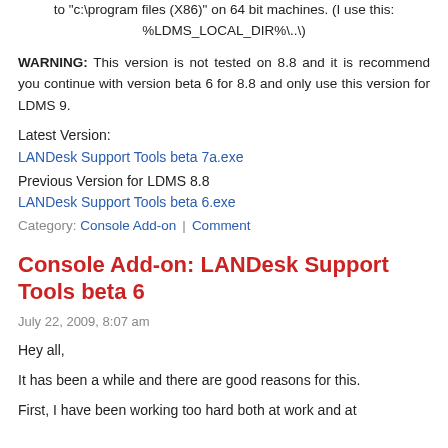to "c:\program files (X86)" on 64 bit machines. (I use this: %LDMS_LOCAL_DIR%\..\)
WARNING: This version is not tested on 8.8 and it is recommend you continue with version beta 6 for 8.8 and only use this version for LDMS 9.
Latest Version:
LANDesk Support Tools beta 7a.exe
Previous Version for LDMS 8.8
LANDesk Support Tools beta 6.exe
Category: Console Add-on | Comment
Console Add-on: LANDesk Support Tools beta 6
July 22, 2009, 8:07 am
Hey all,
It has been a while and there are good reasons for this.
First, I have been working too hard both at work and at